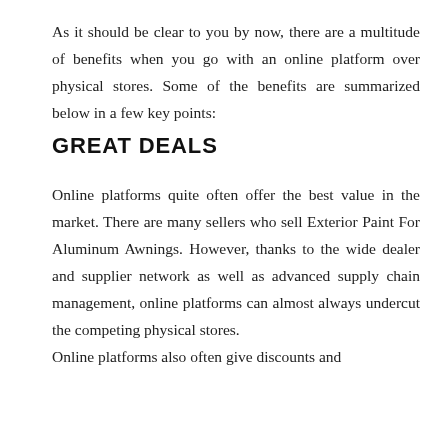As it should be clear to you by now, there are a multitude of benefits when you go with an online platform over physical stores. Some of the benefits are summarized below in a few key points:
GREAT DEALS
Online platforms quite often offer the best value in the market. There are many sellers who sell Exterior Paint For Aluminum Awnings. However, thanks to the wide dealer and supplier network as well as advanced supply chain management, online platforms can almost always undercut the competing physical stores.
Online platforms also often give discounts and